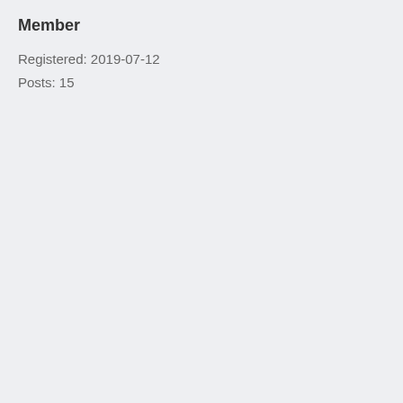Member
Registered: 2019-07-12
Posts: 15
golinux wrote: If Xfce goes south I suspect we might move to a WM rather than full-